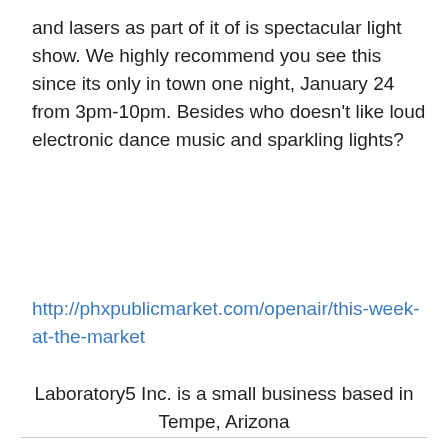and lasers as part of it of is spectacular light show. We highly recommend you see this since its only in town one night, January 24 from 3pm-10pm. Besides who doesn't like loud electronic dance music and sparkling lights?
http://phxpublicmarket.com/openair/this-week-at-the-market
Laboratory5 Inc. is a small business based in Tempe, Arizona
Visit our website: Laboratory5      Follow us on Twitter: @lab5      Become a fan on Facebook: Laboratory5      Contact Us at anytime – we'd love to hear from you